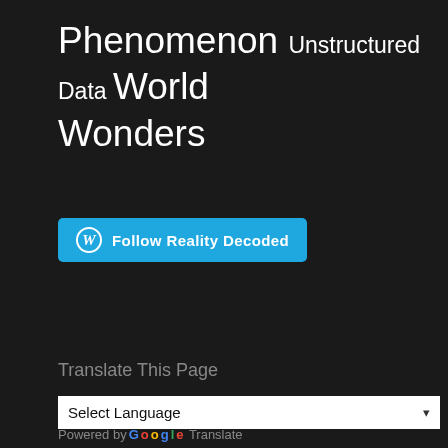Phenomenon Unstructured Data World Wonders
[Figure (other): Follow Reality Decoded WordPress follow button (blue rounded rectangle with WordPress icon and bold white text)]
Translate This Page
Select Language
Powered by Google Translate
Categories
Select Category